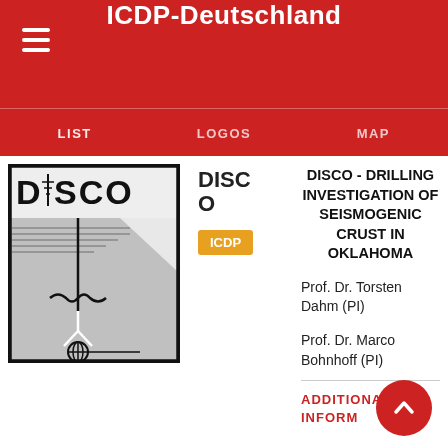ICDP-Deutschland
LIST   LOGOS   MAP
[Figure (logo): DISCO project logo showing a drilling diagram with seismic sensor, geological layers, and the word DISCO at top]
DISCO O
ICDP
DISCO - DRILLING INVESTIGATION OF SEISMOGENIC CRUST IN OKLAHOMA
Prof. Dr. Torsten Dahm (PI)
Prof. Dr. Marco Bohnhoff (PI)
ADDITIONAL INFORMATION